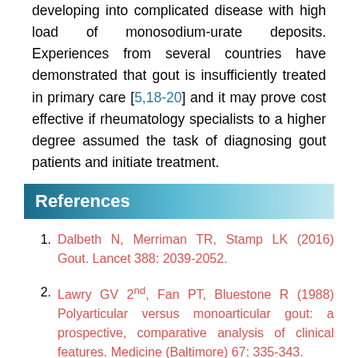developing into complicated disease with high load of monosodium-urate deposits. Experiences from several countries have demonstrated that gout is insufficiently treated in primary care [5,18-20] and it may prove cost effective if rheumatology specialists to a higher degree assumed the task of diagnosing gout patients and initiate treatment.
References
Dalbeth N, Merriman TR, Stamp LK (2016) Gout. Lancet 388: 2039-2052.
Lawry GV 2nd, Fan PT, Bluestone R (1988) Polyarticular versus monoarticular gout: a prospective, comparative analysis of clinical features. Medicine (Baltimore) 67: 335-343.